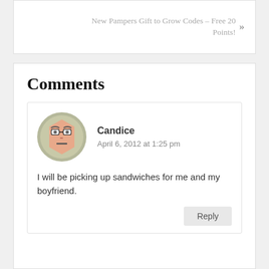New Pampers Gift to Grow Codes – Free 20 Points! »
Comments
[Figure (illustration): Cartoon avatar of a person with glasses, hexagonal face shape, peach skin tone, on a gray-green circular background]
Candice
April 6, 2012 at 1:25 pm
I will be picking up sandwiches for me and my boyfriend.